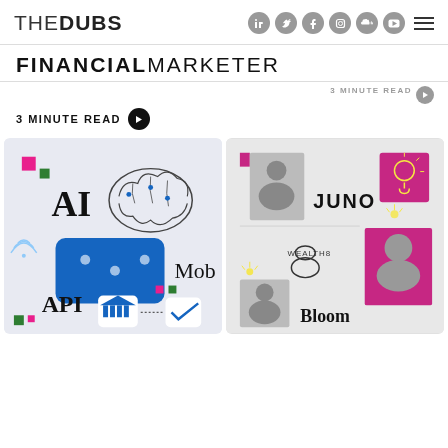THEDUBS — navigation icons
FINANCIAL MARKETER
3 MINUTE READ
[Figure (illustration): Left card: AI fintech illustration with brain graphic, AI text, mobile device, API text, bank icon and checkmark on light blue/grey background]
[Figure (illustration): Right card: Collage of fintech brands — JUNO, WEALTH8, Bloom — with photos of people on grey/pink background]